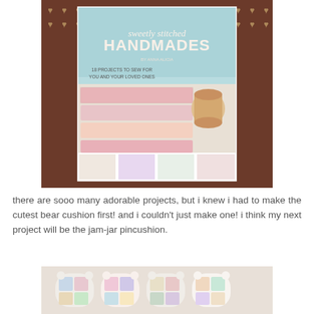[Figure (photo): Photo of the book 'Sweetly Stitched Handmades' showing fabric rolls, sewing accessories, and small craft project thumbnails on a brown patterned background with gold heart motifs.]
there are sooo many adorable projects, but i knew i had to make the cutest bear cushion first! and i couldn't just make one! i think my next project will be the jam-jar pincushion.
[Figure (photo): Photo of handmade patchwork bear cushions in various pastel fabrics arranged in a row.]